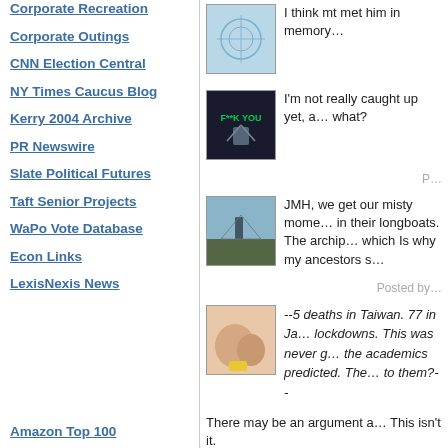Corporate Recreation
Corporate Outings
CNN Election Central
NY Times Caucus Blog
Kerry 2004 Archive
PR Newswire
Slate Political Futures
Taft Senior Projects
WaPo Vote Database
Econ Links
LexisNexis News
Amazon Top 100
[Figure (photo): Blue neural network or abstract circle diagram image]
I think mt met him in memory…
[Figure (photo): Dark image with text F**K YOU and figure silhouette]
I'm not really caught up yet, a… what?
P…
[Figure (photo): Landscape photo with airplane or structure against sky]
JMH, we get our misty mome… in their longboats. The archip… which Is why my ancestors s…
Posted by…
[Figure (photo): Close-up photo of peach/skin tones with yellow element]
--5 deaths in Taiwan. 77 in Ja… lockdowns. This was never g… the academics predicted. The… to them?--
There may be an argument a… This isn't it.
Sweden has gone to a semi-l… regulations pretty much every…